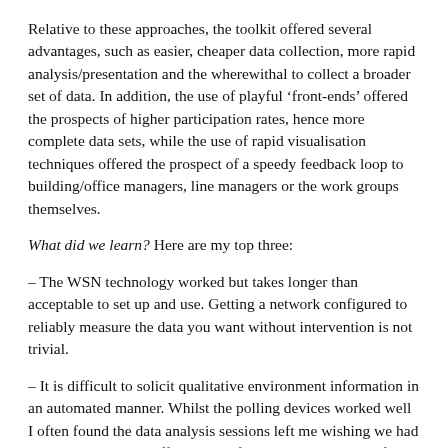Relative to these approaches, the toolkit offered several advantages, such as easier, cheaper data collection, more rapid analysis/presentation and the wherewithal to collect a broader set of data. In addition, the use of playful ‘front-ends’ offered the prospects of higher participation rates, hence more complete data sets, while the use of rapid visualisation techniques offered the prospect of a speedy feedback loop to building/office managers, line managers or the work groups themselves.
What did we learn? Here are my top three:
– The WSN technology worked but takes longer than acceptable to set up and use. Getting a network configured to reliably measure the data you want without intervention is not trivial.
– It is difficult to solicit qualitative environment information in an automated manner. Whilst the polling devices worked well I often found the data analysis sessions left me wishing we had measured more, or differently. I often doubted the scientific validity of the